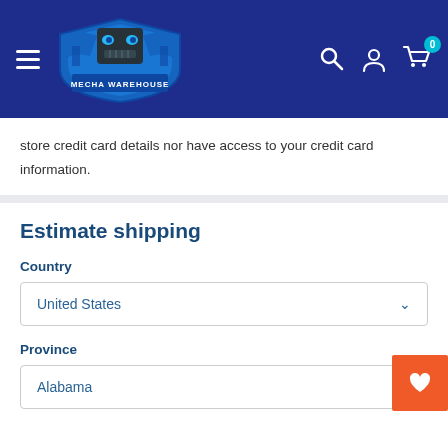[Figure (logo): Mecha Warehouse logo with blue robot/mecha character on shield background with text MECHA WAREHOUSE]
store credit card details nor have access to your credit card information.
Estimate shipping
Country
United States
Province
Alabama